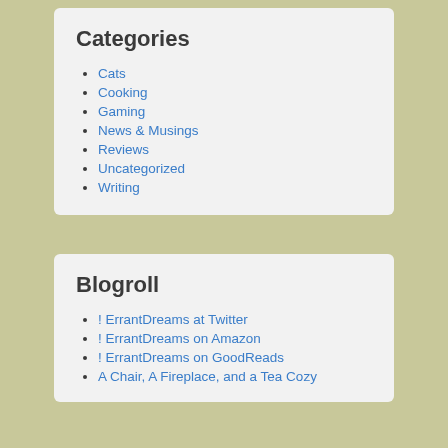Categories
Cats
Cooking
Gaming
News & Musings
Reviews
Uncategorized
Writing
Blogroll
! ErrantDreams at Twitter
! ErrantDreams on Amazon
! ErrantDreams on GoodReads
A Chair, A Fireplace, and a Tea Cozy